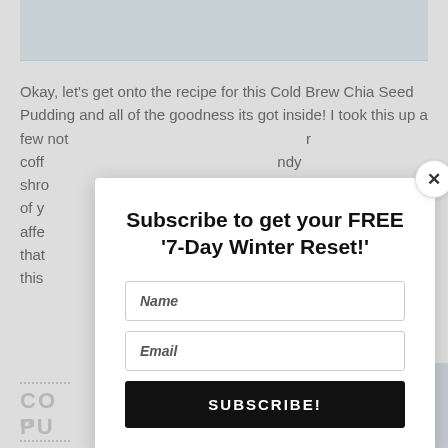[Figure (photo): Top portion of a food photo showing a bowl or cup with cold brew chia seed pudding on a light blue background]
Okay, let's get onto the recipe for this Cold Brew Chia Seed Pudding and all of the goodness its got inside! I took this up a few notches from the original by not only using cold brew coffee instead of hot, but I also added in some handy shredded coconut (you can leave this out if you want) the rest of your chia seeds can stay the same but this change affects... that... and this
CO... PU...
PR...
[Figure (photo): Bottom right corner photo showing a hand holding a glass with chia seed pudding]
[Figure (infographic): Modal popup overlay with subscription form. Title: Subscribe to get your FREE '7-Day Winter Reset!' with Name and Email fields and a SUBSCRIBE! button]